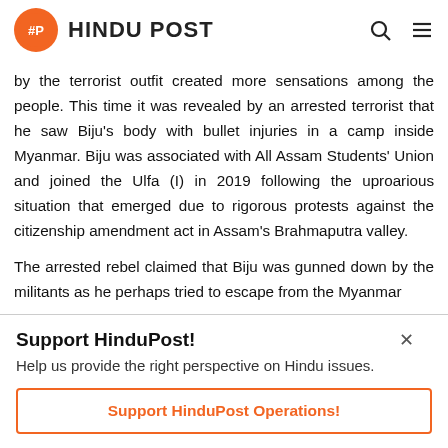HINDU POST
by the terrorist outfit created more sensations among the people. This time it was revealed by an arrested terrorist that he saw Biju's body with bullet injuries in a camp inside Myanmar. Biju was associated with All Assam Students' Union and joined the Ulfa (I) in 2019 following the uproarious situation that emerged due to rigorous protests against the citizenship amendment act in Assam's Brahmaputra valley.
The arrested rebel claimed that Biju was gunned down by the militants as he perhaps tried to escape from the Myanmar
Support HinduPost!
Help us provide the right perspective on Hindu issues.
Support HinduPost Operations!